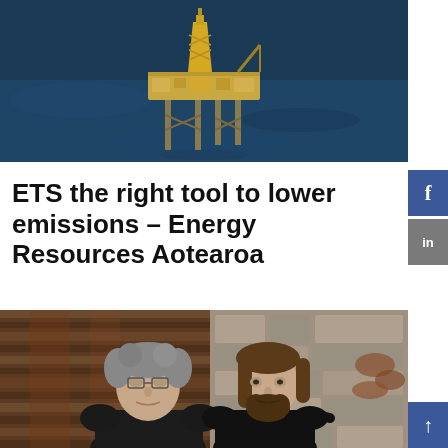[Figure (photo): Aerial photograph of an offshore oil drilling platform/rig in the middle of dark blue ocean water, viewed from above at a slight angle.]
ETS the right tool to lower emissions – Energy Resources Aotearoa
[Figure (photo): Two men posing together outdoors. The man on the left is older with grey curly hair and glasses, wearing a dark jacket. The man on the right is younger with long brown hair and a beard, also wearing a dark jacket. Background shows wooden planks and stone wall.]